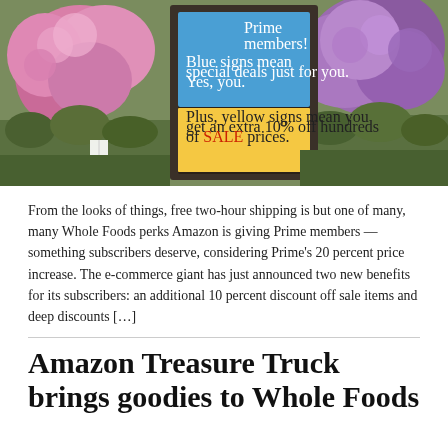[Figure (photo): A Whole Foods Market display sign for Amazon Prime members inside a flower/garden section. The sign has a blue panel reading 'Prime members! Blue signs mean special deals just for you. Yes, you.' and a yellow panel reading 'Plus, yellow signs mean you get an extra 10% off hundreds of SALE prices.' Surrounded by pink and purple hydrangea flowers.]
From the looks of things, free two-hour shipping is but one of many, many Whole Foods perks Amazon is giving Prime members — something subscribers deserve, considering Prime's 20 percent price increase. The e-commerce giant has just announced two new benefits for its subscribers: an additional 10 percent discount off sale items and deep discounts […]
Amazon Treasure Truck brings goodies to Whole Foods